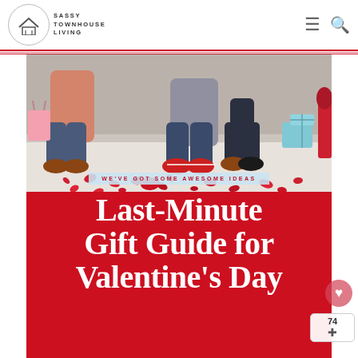SASSY TOWNHOUSE LIVING
[Figure (photo): Screenshot of a blog website header and article thumbnail. Header shows Sassy Townhouse Living logo with house icon in a circle and navigation icons (hamburger menu and search). Below is a featured image showing a couple sitting on the floor surrounded by red rose petals, with gift boxes nearby. A light blue banner reads 'WE'VE GOT SOME AWESOME IDEAS' and over a red background shows large white text: 'Last-Minute Gift Guide for Valentine's Day' with 'Sassy Townhouse Living' in script font. A floating heart button and share counter (74) overlay the bottom right.]
Last-Minute Gift Guide for Valentine's Day
WE'VE GOT SOME AWESOME IDEAS
Sassy Townhouse Living